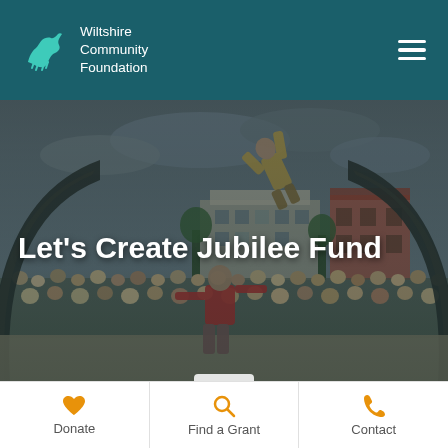Wiltshire Community Foundation
[Figure (photo): Aerial acrobats performing on a large circular ramp/half-pipe structure in a town square, with a large crowd watching. A performer in red is balancing on the ramp while another is airborne above. Historic brick buildings visible in the background under cloudy skies.]
Let's Create Jubilee Fund
Donate
Find a Grant
Contact